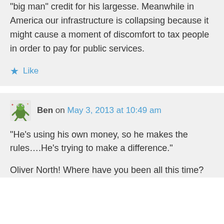“big man” credit for his largesse. Meanwhile in America our infrastructure is collapsing because it might cause a moment of discomfort to tax people in order to pay for public services.
Like
Ben on May 3, 2013 at 10:49 am
“He’s using his own money, so he makes the rules….He’s trying to make a difference.”
Oliver North! Where have you been all this time?